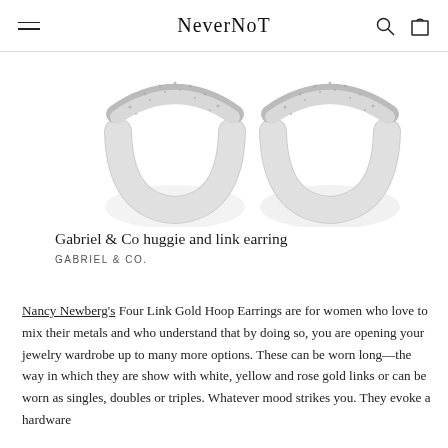NeverNoT
[Figure (photo): Two diamond-encrusted huggie hoop earrings with white/silver finish on a white background, partially cropped at top.]
Gabriel & Co huggie and link earring
GABRIEL & CO.
Nancy Newberg's Four Link Gold Hoop Earrings are for women who love to mix their metals and who understand that by doing so, you are opening your jewelry wardrobe up to many more options. These can be worn long—the way in which they are show with white, yellow and rose gold links or can be worn as singles, doubles or triples. Whatever mood strikes you. They evoke a hardware